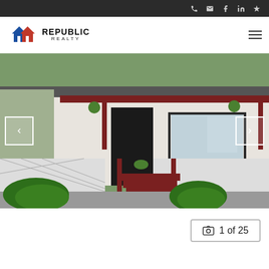Top navigation bar with phone, email, facebook, linkedin, yelp icons
[Figure (logo): Republic Realty logo with two house icons in blue and red]
[Figure (photo): Exterior photo of a mobile/manufactured home with red wood porch, lattice skirting, steps, and landscaped bushes. Image slideshow 1 of 25 with left and right navigation arrows.]
1 of 25